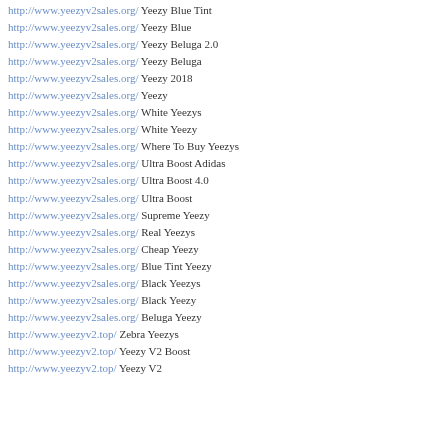http://www.yeezyv2sales.org/ Yeezy Blue Tint
http://www.yeezyv2sales.org/ Yeezy Blue
http://www.yeezyv2sales.org/ Yeezy Beluga 2.0
http://www.yeezyv2sales.org/ Yeezy Beluga
http://www.yeezyv2sales.org/ Yeezy 2018
http://www.yeezyv2sales.org/ Yeezy
http://www.yeezyv2sales.org/ White Yeezys
http://www.yeezyv2sales.org/ White Yeezy
http://www.yeezyv2sales.org/ Where To Buy Yeezys
http://www.yeezyv2sales.org/ Ultra Boost Adidas
http://www.yeezyv2sales.org/ Ultra Boost 4.0
http://www.yeezyv2sales.org/ Ultra Boost
http://www.yeezyv2sales.org/ Supreme Yeezy
http://www.yeezyv2sales.org/ Real Yeezys
http://www.yeezyv2sales.org/ Cheap Yeezy
http://www.yeezyv2sales.org/ Blue Tint Yeezy
http://www.yeezyv2sales.org/ Black Yeezys
http://www.yeezyv2sales.org/ Black Yeezy
http://www.yeezyv2sales.org/ Beluga Yeezy
http://www.yeezyv2.top/ Zebra Yeezys
http://www.yeezyv2.top/ Yeezy V2 Boost
http://www.yeezyv2.top/ Yeezy V2